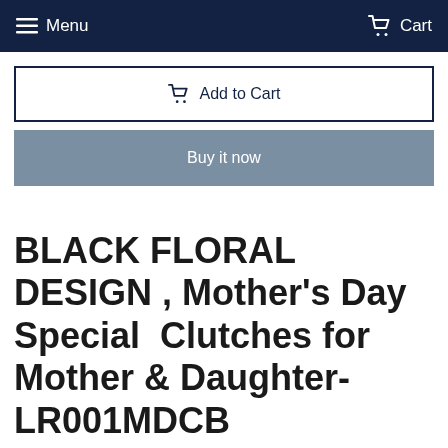Menu   Cart
Add to Cart
Buy it now
BLACK FLORAL  DESIGN , Mother's Day Special  Clutches for Mother & Daughter-LR001MDCB